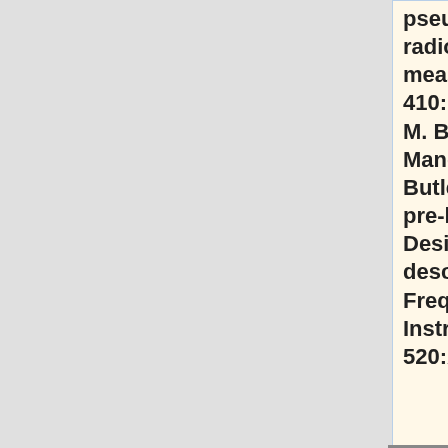pseudo correlation radiometers for CMB measurements. A&A, 410:1089–1100, 2003; M. Bersanelli, N. Mandolesi, R. C. Butler et al. Planck pre-launch status: Design and description of the Low Frequency Instrument. A&A, 520:A4, 2010]:
: <math>
<math>
+ \label{eq:power